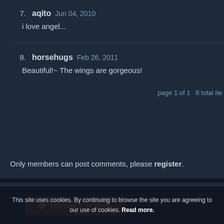7. aqito Jun 04, 2010
i love angel...
8. horsehugs Feb 26, 2011
Beautiful!~ The wings are gorgeous!
page 1 of 1   8 total ite
Only members can post comments, please register.
[Figure (screenshot): BECOME A PATRON button in red/orange]
This site uses cookies. By continuing to browse the site you are agreeing to our use of cookies. Read more.